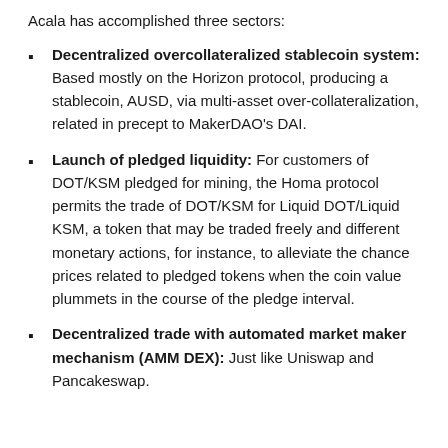Acala has accomplished three sectors:
Decentralized overcollateralized stablecoin system: Based mostly on the Horizon protocol, producing a stablecoin, AUSD, via multi-asset over-collateralization, related in precept to MakerDAO’s DAI.
Launch of pledged liquidity: For customers of DOT/KSM pledged for mining, the Homa protocol permits the trade of DOT/KSM for Liquid DOT/Liquid KSM, a token that may be traded freely and different monetary actions, for instance, to alleviate the chance prices related to pledged tokens when the coin value plummets in the course of the pledge interval.
Decentralized trade with automated market maker mechanism (AMM DEX): Just like Uniswap and Pancakeswap.